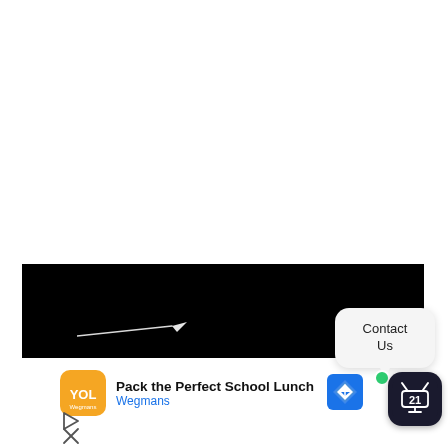[Figure (screenshot): Black video player area with a faint comet or shooting star visible in the lower left portion]
[Figure (other): Contact Us speech bubble popup with rounded rectangle shape and white/light gray background]
[Figure (other): Advertisement strip: Wegmans orange icon, 'Pack the Perfect School Lunch' title, 'Wegmans' subtitle link in blue]
[Figure (other): Navigation icons including Google Maps arrow icon, green online dot, and TV21 app badge icon]
[Figure (other): Play button triangle and close/X button below the ad strip]